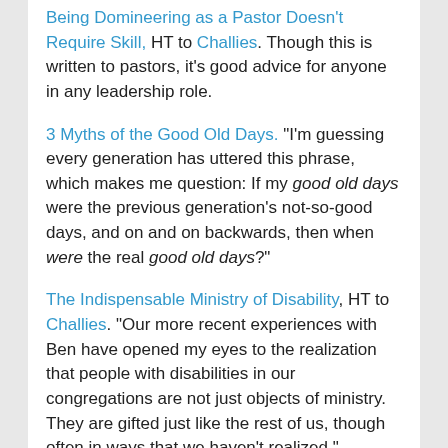Being Domineering as a Pastor Doesn't Require Skill, HT to Challies. Though this is written to pastors, it's good advice for anyone in any leadership role.
3 Myths of the Good Old Days. “I’m guessing every generation has uttered this phrase, which makes me question: If my good old days were the previous generation’s not-so-good days, and on and on backwards, then when were the real good old days?”
The Indispensable Ministry of Disability, HT to Challies. “Our more recent experiences with Ben have opened my eyes to the realization that people with disabilities in our congregations are not just objects of ministry. They are gifted just like the rest of us, though often in ways that we haven’t realized.”
Rolls and Circles in Women’s Ministry: Why You Need Both. “When you think of discipleship in your church, women’s ministry, or small group, how do you picture the chairs being arranged? Do you picture the chairs in rows, facing a teacher in the front? Do you picture the chairs in